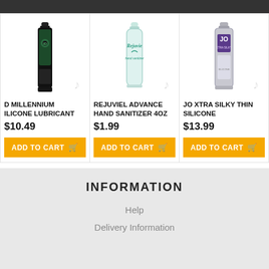[Figure (photo): Product listing: ID MILLENNIUM SILICONE LUBRICANT bottle (black), price $10.49, Add to Cart button]
[Figure (photo): Product listing: REJUVIEL ADVANCE HAND SANITIZER 4OZ bottle (teal/clear), price $1.99, Add to Cart button]
[Figure (photo): Product listing: JO XTRA SILKY THIN SILICONE bottle (silver/purple), price $13.99, Add to Cart button]
INFORMATION
Help
Delivery Information